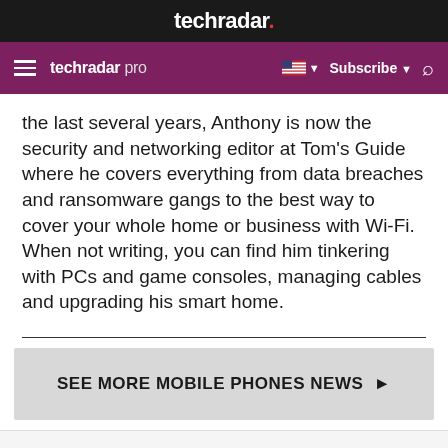techradar.
techradar pro  Subscribe
the last several years, Anthony is now the security and networking editor at Tom's Guide where he covers everything from data breaches and ransomware gangs to the best way to cover your whole home or business with Wi-Fi. When not writing, you can find him tinkering with PCs and game consoles, managing cables and upgrading his smart home.
SEE MORE MOBILE PHONES NEWS ▶